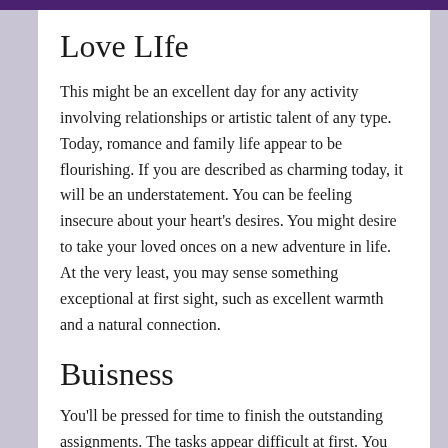Love LIfe
This might be an excellent day for any activity involving relationships or artistic talent of any type. Today, romance and family life appear to be flourishing. If you are described as charming today, it will be an understatement. You can be feeling insecure about your heart's desires. You might desire to take your loved onces on a new adventure in life. At the very least, you may sense something exceptional at first sight, such as excellent warmth and a natural connection.
Buisness
You'll be pressed for time to finish the outstanding assignments. The tasks appear difficult at first. You